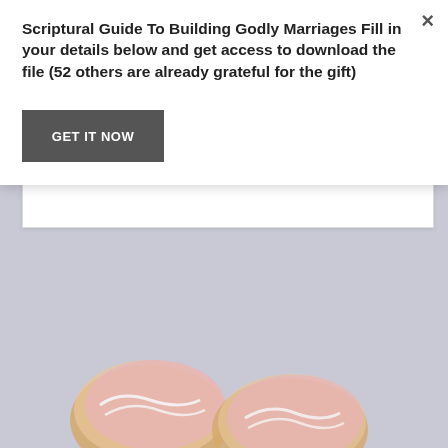[Figure (screenshot): Website popup modal overlay on a page with a photo of decorated cookies in the background. The modal has a white background with bold text, a GET IT NOW button, and a close (×) button in the top right.]
Scriptural Guide To Building Godly Marriages Fill in your details below and get access to download the file (52 others are already grateful for the gift)
GET IT NOW
[Figure (photo): Photo of decorated cookies or pastries with pink and white frosting on a grey/lavender background, partially visible at the bottom of the page.]